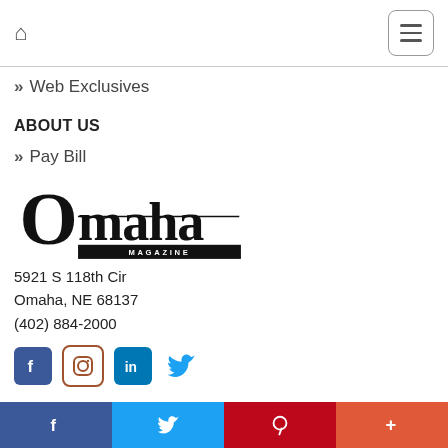Home | Menu
» Web Exclusives
ABOUT US
» Pay Bill
[Figure (logo): Omaha Magazine logo in black serif lettering with MAGAZINE in a black bar beneath]
5921 S 118th Cir
Omaha, NE 68137
(402) 884-2000
[Figure (infographic): Social media icons: Facebook (blue), Instagram (brown outline), LinkedIn (blue), Twitter (light blue)]
Facebook | Twitter | Pinterest | Plus